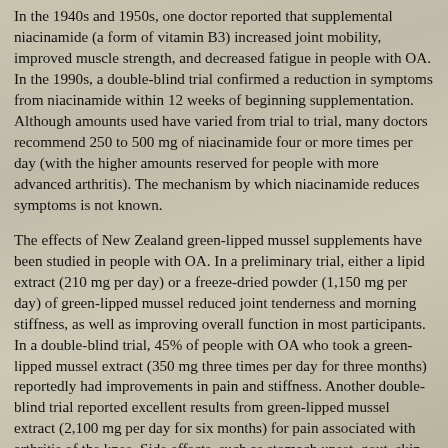In the 1940s and 1950s, one doctor reported that supplemental niacinamide (a form of vitamin B3) increased joint mobility, improved muscle strength, and decreased fatigue in people with OA. In the 1990s, a double-blind trial confirmed a reduction in symptoms from niacinamide within 12 weeks of beginning supplementation. Although amounts used have varied from trial to trial, many doctors recommend 250 to 500 mg of niacinamide four or more times per day (with the higher amounts reserved for people with more advanced arthritis). The mechanism by which niacinamide reduces symptoms is not known.
The effects of New Zealand green-lipped mussel supplements have been studied in people with OA. In a preliminary trial, either a lipid extract (210 mg per day) or a freeze-dried powder (1,150 mg per day) of green-lipped mussel reduced joint tenderness and morning stiffness, as well as improving overall function in most participants. In a double-blind trial, 45% of people with OA who took a green-lipped mussel extract (350 mg three times per day for three months) reportedly had improvements in pain and stiffness. Another double-blind trial reported excellent results from green-lipped mussel extract (2,100 mg per day for six months) for pain associated with arthritis of the knee. Side effects, such as stomach upset, gout, skin rashes, and one case of hepatitis have been reported in people taking certain New Zealand green-lipped mussel extracts.